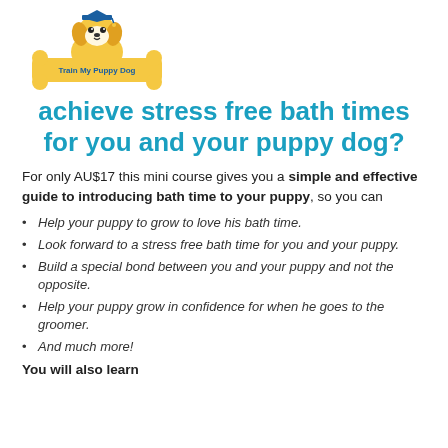[Figure (logo): Train My Puppy Dog logo with cartoon dog wearing graduation cap sitting on a bone-shaped banner]
achieve stress free bath times for you and your puppy dog?
For only AU$17 this mini course gives you a simple and effective guide to introducing bath time to your puppy, so you can
Help your puppy to grow to love his bath time.
Look forward to a stress free bath time for you and your puppy.
Build a special bond between you and your puppy and not the opposite.
Help your puppy grow in confidence for when he goes to the groomer.
And much more!
You will also learn